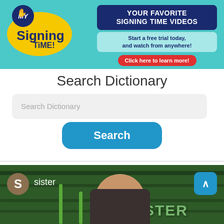[Figure (screenshot): My Signing Time banner advertisement with logo, 'YOUR FAVORITE SIGNING TIME VIDEOS', 'Start a free trial today, and watch from anywhere!', and 'Click here to learn more!' button]
Search Dictionary
Search Dictionary (placeholder in input field)
Search (button)
[Figure (screenshot): Video thumbnail showing a woman signing with text 'S sister' label and 'SISTER' displayed on green background with a blue up-arrow button]